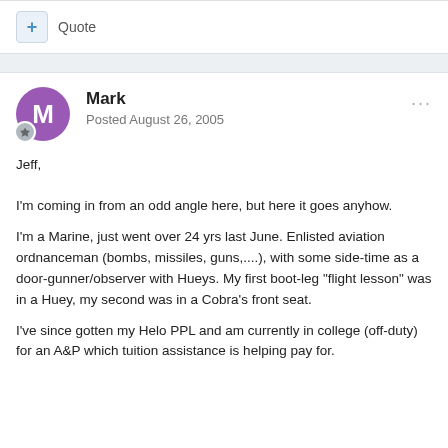+ Quote
Mark
Posted August 26, 2005
Jeff,

I'm coming in from an odd angle here, but here it goes anyhow.

I'm a Marine, just went over 24 yrs last June. Enlisted aviation ordnanceman (bombs, missiles, guns,....), with some side-time as a door-gunner/observer with Hueys. My first boot-leg "flight lesson" was in a Huey, my second was in a Cobra's front seat.

I've since gotten my Helo PPL and am currently in college (off-duty) for an A&P which tuition assistance is helping pay for.